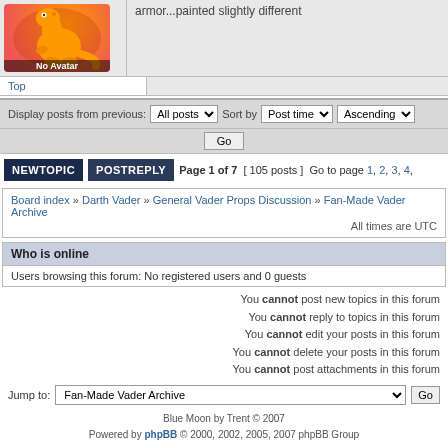armor...painted slightly different
Top
Display posts from previous: All posts  Sort by  Post time  Ascending  Go
NEWTOPIC  POSTREPLY  Page 1 of 7  [ 105 posts ]  Go to page 1, 2, 3, 4,
Board index » Darth Vader » General Vader Props Discussion » Fan-Made Vader Archive
All times are UTC
Who is online
Users browsing this forum: No registered users and 0 guests
You cannot post new topics in this forum
You cannot reply to topics in this forum
You cannot edit your posts in this forum
You cannot delete your posts in this forum
You cannot post attachments in this forum
Jump to:  Fan-Made Vader Archive  Go
Blue Moon by Trent © 2007
Powered by phpBB © 2000, 2002, 2005, 2007 phpBB Group